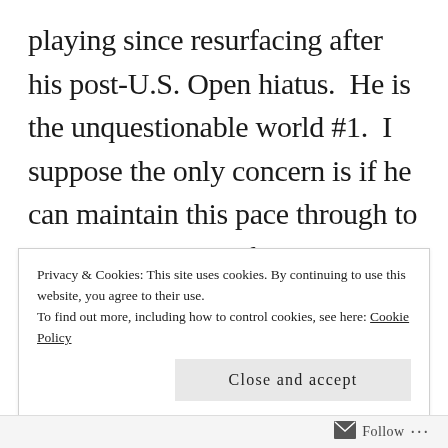playing since resurfacing after his post-U.S. Open hiatus.  He is the unquestionable world #1.  I suppose the only concern is if he can maintain this pace through to London and those fiercely competitive matches.  But, again, despite the fact that Stan completed a nice, victorious tune-up, and that Roger will probably be well-rested and ready to resume his phenomenal farewell tour, along with Murray back in action, and Nadal, perhaps fresh off a new oil change and
Privacy & Cookies: This site uses cookies. By continuing to use this website, you agree to their use.
To find out more, including how to control cookies, see here: Cookie Policy
Close and accept
Follow